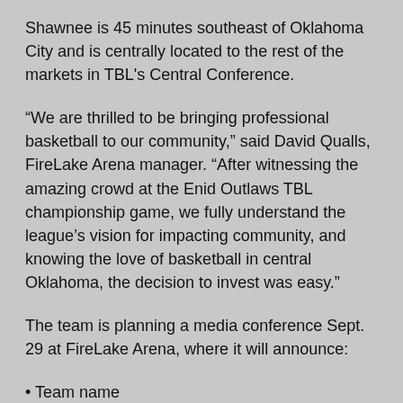Shawnee is 45 minutes southeast of Oklahoma City and is centrally located to the rest of the markets in TBL's Central Conference.
“We are thrilled to be bringing professional basketball to our community,” said David Qualls, FireLake Arena manager. “After witnessing the amazing crowd at the Enid Outlaws TBL championship game, we fully understand the league’s vision for impacting community, and knowing the love of basketball in central Oklahoma, the decision to invest was easy.”
The team is planning a media conference Sept. 29 at FireLake Arena, where it will announce:
Team name
Head coach
New court design
Upcoming tryout events